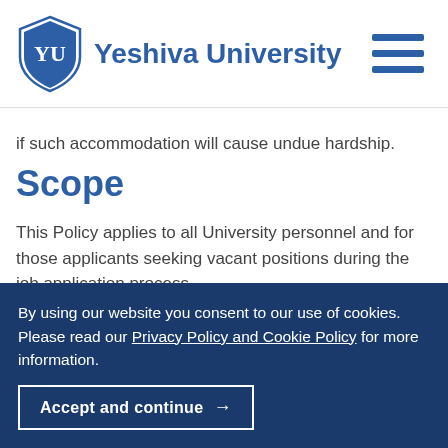Yeshiva University
if such accommodation will cause undue hardship.
Scope
This Policy applies to all University personnel and for those applicants seeking vacant positions during the job application process.
Definitions
By using our website you consent to our use of cookies. Please read our Privacy Policy and Cookie Policy for more information.
Accept and continue →